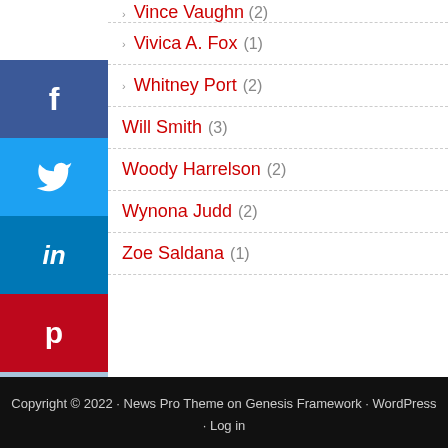Vivica A. Fox (1)
Whitney Port (2)
Will Smith (3)
Woody Harrelson (2)
Wynona Judd (2)
Zoe Saldana (1)
Copyright © 2022 · News Pro Theme on Genesis Framework · WordPress · Log in